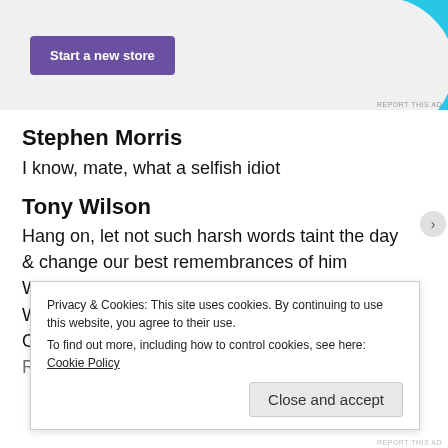[Figure (screenshot): Ad banner with purple 'Start a new store' button and cyan shape on right]
Stephen Morris
I know, mate, what a selfish idiot
Tony Wilson
Hang on, let not such harsh words taint the day
& change our best remembrances of him
Who brought the fruits of beauty to the fair
Where all was dull & dusty, creaking rigs
Of iron-bolted Victoriana
Reduced to slums midst chimneys without looms
Privacy & Cookies: This site uses cookies. By continuing to use this website, you agree to their use. To find out more, including how to control cookies, see here: Cookie Policy
Close and accept